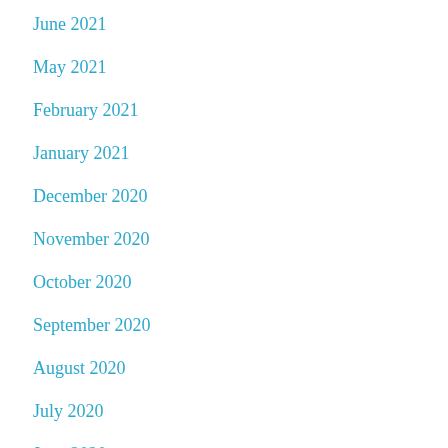June 2021
May 2021
February 2021
January 2021
December 2020
November 2020
October 2020
September 2020
August 2020
July 2020
June 2020
May 2020
April 2020
March 2020